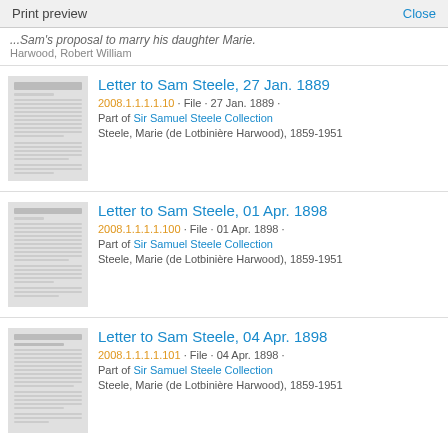Print preview | Close
...Sam's proposal to marry his daughter Marie.
Harwood, Robert William
Letter to Sam Steele, 27 Jan. 1889
2008.1.1.1.1.10 · File · 27 Jan. 1889 ·
Part of Sir Samuel Steele Collection
Steele, Marie (de Lotbiniere Harwood), 1859-1951
Letter to Sam Steele, 01 Apr. 1898
2008.1.1.1.1.100 · File · 01 Apr. 1898 ·
Part of Sir Samuel Steele Collection
Steele, Marie (de Lotbiniere Harwood), 1859-1951
Letter to Sam Steele, 04 Apr. 1898
2008.1.1.1.1.101 · File · 04 Apr. 1898 ·
Part of Sir Samuel Steele Collection
Steele, Marie (de Lotbiniere Harwood), 1859-1951